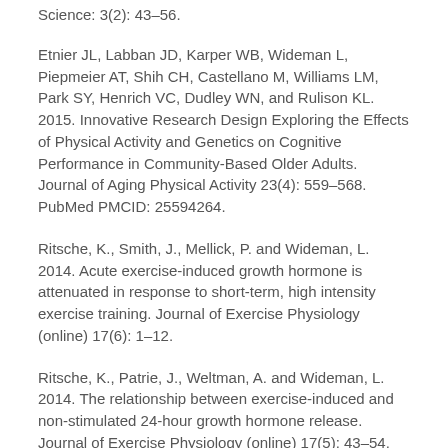Science: 3(2): 43–56.
Etnier JL, Labban JD, Karper WB, Wideman L, Piepmeier AT, Shih CH, Castellano M, Williams LM, Park SY, Henrich VC, Dudley WN, and Rulison KL. 2015. Innovative Research Design Exploring the Effects of Physical Activity and Genetics on Cognitive Performance in Community-Based Older Adults. Journal of Aging Physical Activity 23(4): 559–568. PubMed PMCID: 25594264.
Ritsche, K., Smith, J., Mellick, P. and Wideman, L. 2014. Acute exercise-induced growth hormone is attenuated in response to short-term, high intensity exercise training. Journal of Exercise Physiology (online) 17(6): 1–12.
Ritsche, K., Patrie, J., Weltman, A. and Wideman, L. 2014. The relationship between exercise-induced and non-stimulated 24-hour growth hormone release. Journal of Exercise Physiology (online) 17(5): 43–54.